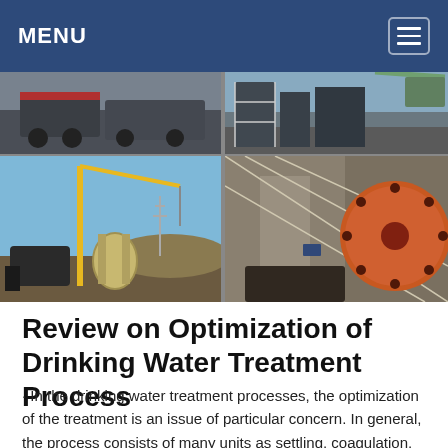MENU
[Figure (photo): Four-panel photo collage showing industrial/engineering sites: top-left shows heavy machinery/trucks, bottom-left shows construction site with crane and large pipe equipment against blue sky, top-right shows construction scaffolding and structures, bottom-right shows industrial machinery with large orange rotating drum/flywheel.]
Review on Optimization of Drinking Water Treatment Process
· In the drinking water treatment processes, the optimization of the treatment is an issue of particular concern. In general, the process consists of many units as settling, coagulation, flocculation, sedimentation, filtration and disinfection. The optimization of the…